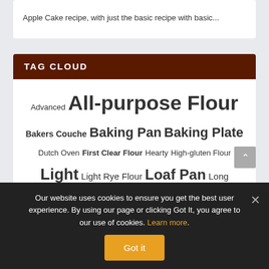Apple Cake recipe, with just the basic recipe with basic...
TAG CLOUD
Advanced All-purpose Flour Bakers Couche Baking Pan Baking Plate Dutch Oven First Clear Flour Hearty High-gluten Flour Light Light Rye Flour Loaf Pan Long Mature Sourdough Starter Mediterranean Moderate Pastry Flour Proofing Basket Pumpernickel Flour Rye Flour Salty Short
Our website uses cookies to ensure you get the best user experience. By using our page or clicking Got It, you agree to our use of cookies. Learn more.